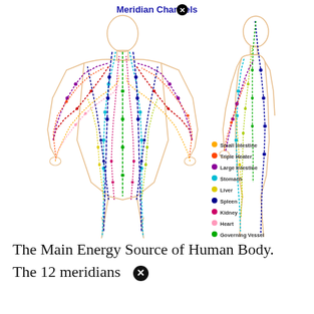[Figure (illustration): Diagram of the human body showing 12 meridian channels overlaid on front and side (profile) views of a human figure. Multiple colored lines with dots trace meridian paths across the body. A legend lists: Small Intestine (orange), Triple Heater (red-orange), Large Intestine (purple), Stomach (cyan), Liver (yellow), Spleen (dark blue), Kidney (pink-red), Heart (pink), Governing Vessel (green), Lungs (red), Bladder (dark blue arrow), Gall Bladder (yellow-green). Title at top reads 'Meridian Channels' with an X circle icon.]
The Main Energy Source of Human Body. The 12 meridians